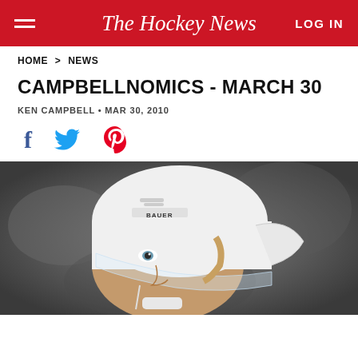The Hockey News — LOG IN
HOME > NEWS
CAMPBELLNOMICS - MARCH 30
KEN CAMPBELL • MAR 30, 2010
[Figure (other): Social share icons: Facebook, Twitter, Pinterest]
[Figure (photo): Close-up photo of a young hockey player wearing a white Bauer helmet with a visor, looking upward. Blurred arena background.]